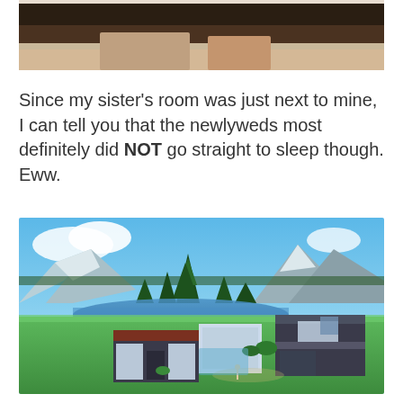[Figure (photo): Top partial photo showing what appears to be a person's legs/lower body on a bed or couch, cropped at top of page]
Since my sister's room was just next to mine, I can tell you that the newlyweds most definitely did NOT go straight to sleep though. Eww.
[Figure (screenshot): Screenshot from The Sims 4 video game showing Granite Falls outdoor area with modern houses, green grass, trees, mountains, and a lake in the background]
The following morning, we were all pretty pumped to go out to explore Granite Falls. There's a bunch of spa type buildings in the area for all the tourists